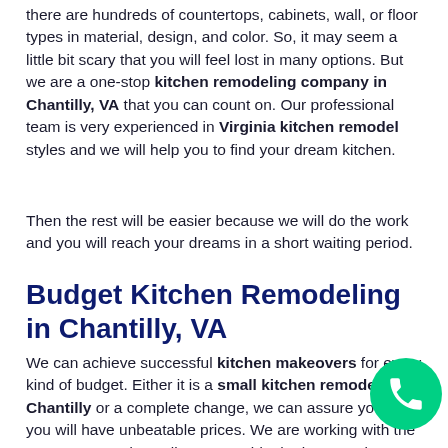there are hundreds of countertops, cabinets, wall, or floor types in material, design, and color. So, it may seem a little bit scary that you will feel lost in many options. But we are a one-stop kitchen remodeling company in Chantilly, VA that you can count on. Our professional team is very experienced in Virginia kitchen remodel styles and we will help you to find your dream kitchen.
Then the rest will be easier because we will do the work and you will reach your dreams in a short waiting period.
Budget Kitchen Remodeling in Chantilly, VA
We can achieve successful kitchen makeovers for every kind of budget. Either it is a small kitchen remodeling in Chantilly or a complete change, we can assure you that you will have unbeatable prices. We are working with the contractors and suppliers to provide the best service at reasonable prices.